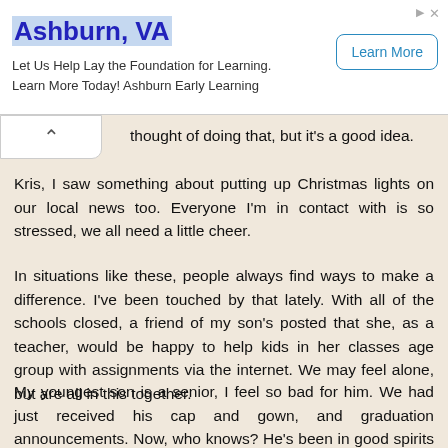[Figure (other): Advertisement banner for Ashburn Early Learning. Shows 'Ashburn, VA' in large blue bold text with cyan highlight, tagline 'Let Us Help Lay the Foundation for Learning. Learn More Today! Ashburn Early Learning', and a 'Learn More' button with blue border. Top-right has small ad icons (arrow and x).]
thought of doing that, but it's a good idea.
Kris, I saw something about putting up Christmas lights on our local news too. Everyone I'm in contact with is so stressed, we all need a little cheer.
In situations like these, people always find ways to make a difference. I've been touched by that lately. With all of the schools closed, a friend of my son's posted that she, as a teacher, would be happy to help kids in her classes age group with assignments via the internet. We may feel alone, but are all in this together.
My youngest son is a senior, I feel so bad for him. We had just received his cap and gown, and graduation announcements. Now, who knows? He's been in good spirits though.